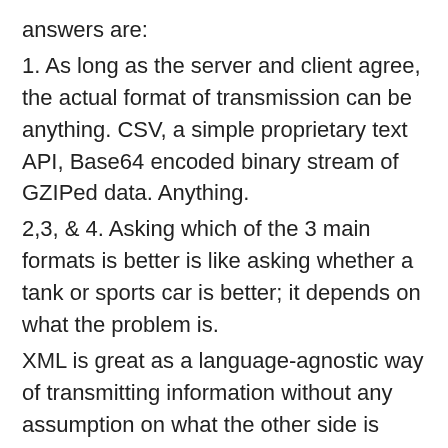answers are:
1. As long as the server and client agree, the actual format of transmission can be anything. CSV, a simple proprietary text API, Base64 encoded binary stream of GZIPed data. Anything.
2,3, & 4. Asking which of the 3 main formats is better is like asking whether a tank or sports car is better; it depends on what the problem is.
XML is great as a language-agnostic way of transmitting information without any assumption on what the other side is going to do with it. If the server is a public web service sending data to javascript